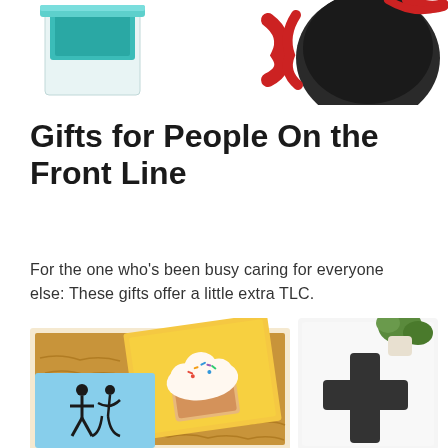[Figure (photo): Top portion showing two product images: left is a teal/turquoise box or candle, right shows a dark circular object with red ribbon/bow (partially visible, cropped)]
Gifts for People On the Front Line
For the one who’s been busy caring for everyone else: These gifts offer a little extra TLC.
[Figure (photo): A gift box open with kraft paper shredding, containing a yellow card with a cupcake illustration, a blue card with a dancing couple silhouette, and a small succulent plant visible in upper right. On the right side a white box with a dark cross/plus symbol is partially visible.]